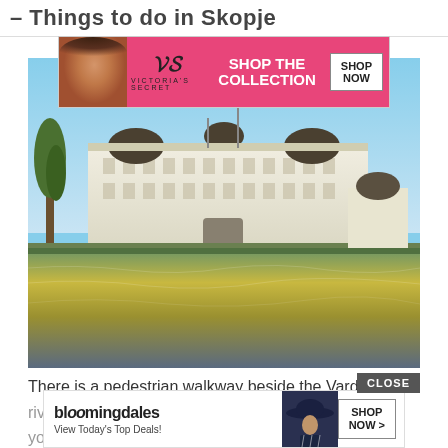– Things to do in Skopje
[Figure (photo): Victoria's Secret advertisement banner with woman, VS logo, 'SHOP THE COLLECTION' text and SHOP NOW button]
[Figure (photo): Photograph of a large white neoclassical building reflected in the Vardar river in Skopje, with blue sky and trees]
There is a pedestrian walkway beside the Vardar river
you'
er of
[Figure (photo): Bloomingdales advertisement banner with woman in wide-brim hat, 'View Today's Top Deals!' text and SHOP NOW > button]
CLOSE